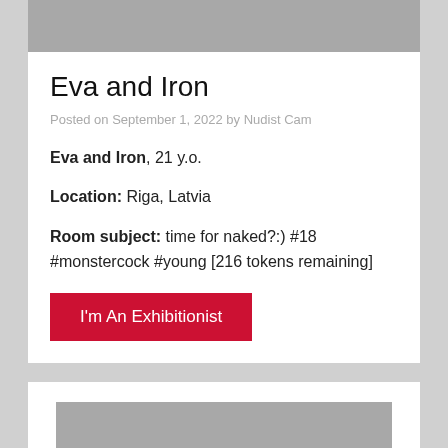[Figure (photo): Gray placeholder image banner at top of card]
Eva and Iron
Posted on September 1, 2022 by Nudist Cam
Eva and Iron, 21 y.o.
Location: Riga, Latvia
Room subject: time for naked?:) #18 #monstercock #young [216 tokens remaining]
I'm An Exhibitionist
[Figure (photo): Gray placeholder image banner at bottom, second card preview]